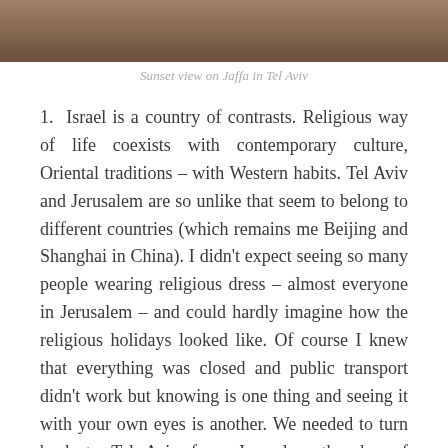[Figure (photo): Sunset view on Jaffa in Tel Aviv — top strip of photo showing warm brownish tones]
Sunset view on Jaffa in Tel Aviv
1.  Israel is a country of contrasts. Religious way of life coexists with contemporary culture, Oriental traditions – with Western habits. Tel Aviv and Jerusalem are so unlike that seem to belong to different countries (which remains me Beijing and Shanghai in China). I didn't expect seeing so many people wearing religious dress – almost everyone in Jerusalem – and could hardly imagine how the religious holidays looked like. Of course I knew that everything was closed and public transport didn't work but knowing is one thing and seeing it with your own eyes is another. We needed to turn back to Tel Aviv from Jerusalem the day of Shavuot, a big Jewish holiday, and had to search a private bus driven by a muslim driver – the only transport available. It was the early morning, and we saw the whole